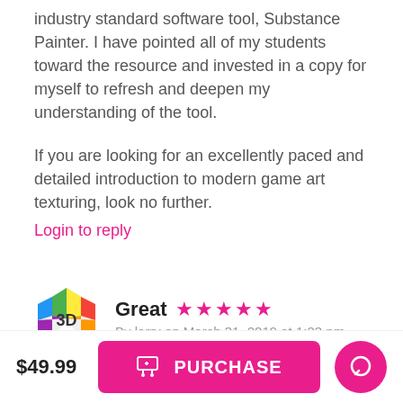industry standard software tool, Substance Painter. I have pointed all of my students toward the resource and invested in a copy for myself to refresh and deepen my understanding of the tool.
If you are looking for an excellently paced and detailed introduction to modern game art texturing, look no further.
Login to reply
Great ★★★★★ By larry on March 31, 2019 at 1:23 pm
Great product. Easily understandable explained. I look at it
$49.99  PURCHASE